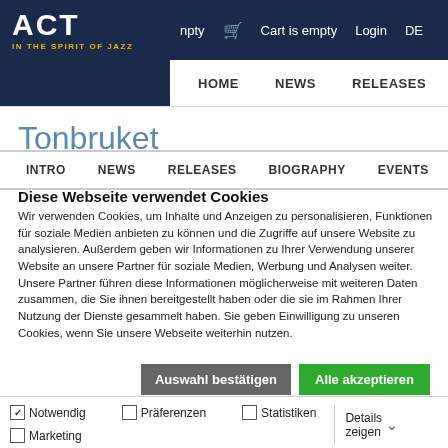ACT – IN THE SPIRIT OF JAZZ | npty | Cart is empty | Login | DE
HOME | NEWS | RELEASES | AR…
Tonbruket
INTRO | NEWS | RELEASES | BIOGRAPHY | EVENTS
Diese Webseite verwendet Cookies
Wir verwenden Cookies, um Inhalte und Anzeigen zu personalisieren, Funktionen für soziale Medien anbieten zu können und die Zugriffe auf unsere Website zu analysieren. Außerdem geben wir Informationen zu Ihrer Verwendung unserer Website an unsere Partner für soziale Medien, Werbung und Analysen weiter. Unsere Partner führen diese Informationen möglicherweise mit weiteren Daten zusammen, die Sie ihnen bereitgestellt haben oder die sie im Rahmen Ihrer Nutzung der Dienste gesammelt haben. Sie geben Einwilligung zu unseren Cookies, wenn Sie unsere Webseite weiterhin nutzen.
Auswahl bestätigen | Alle akzeptieren
Notwendig | Präferenzen | Statistiken | Marketing | Details zeigen